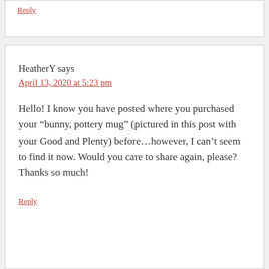Reply
HeatherY says
April 13, 2020 at 5:23 pm
Hello! I know you have posted where you purchased your “bunny, pottery mug” (pictured in this post with your Good and Plenty) before…however, I can’t seem to find it now. Would you care to share again, please? Thanks so much!
Reply